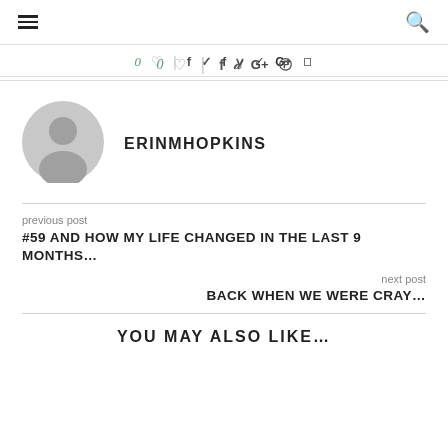≡  🔍
0 ♡  |  f  t  G+   pinterest
[Figure (illustration): Grey placeholder avatar with user silhouette icon]
ERINMHOPKINS
previous post
#59 AND HOW MY LIFE CHANGED IN THE LAST 9 MONTHS…
next post
BACK WHEN WE WERE CRAY…
YOU MAY ALSO LIKE…